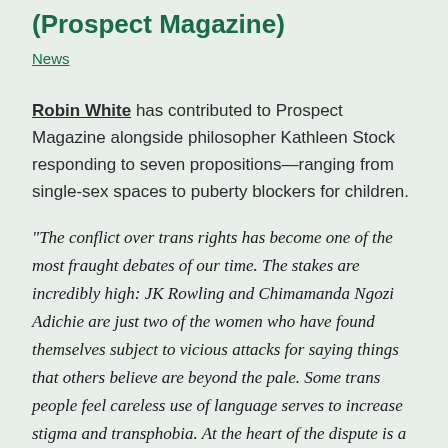(Prospect Magazine)
News
Robin White has contributed to Prospect Magazine alongside philosopher Kathleen Stock responding to seven propositions—ranging from single-sex spaces to puberty blockers for children.
“The conflict over trans rights has become one of the most fraught debates of our time. The stakes are incredibly high: JK Rowling and Chimamanda Ngozi Adichie are just two of the women who have found themselves subject to vicious attacks for saying things that others believe are beyond the pale. Some trans people feel careless use of language serves to increase stigma and transphobia. At the heart of the dispute is a disagreement between those who think